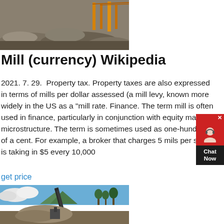[Figure (photo): Top photo of a quarry or mining site with grey gravel mounds and orange crane equipment in background]
Mill (currency) Wikipedia
2021. 7. 29.  Property tax. Property taxes are also expressed in terms of mills per dollar assessed (a mill levy, known more widely in the US as a "mill rate. Finance. The term mill is often used in finance, particularly in conjunction with equity market microstructure. The term is sometimes used as one-hundredth of a cent. For example, a broker that charges 5 mils per share is taking in $5 every 10,000
get price
[Figure (photo): Bottom photo of a quarry or mining facility with a conveyor belt tower, gravel piles, trees, and blue sky with clouds]